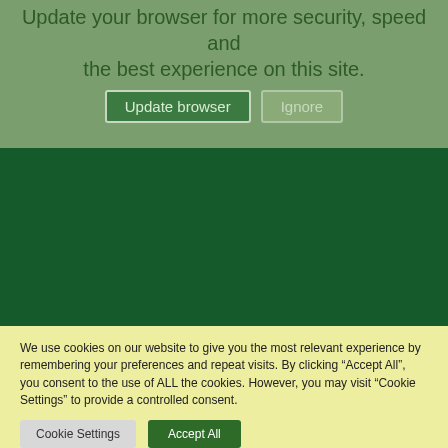Update your browser for more security, speed and the best experience on this site.
[Figure (screenshot): Two buttons: 'Update browser' (dark green outline) and 'Ignore' (muted green outline) on a medium green banner background.]
[Figure (other): Dark green empty rectangular section, likely a content area placeholder.]
We use cookies on our website to give you the most relevant experience by remembering your preferences and repeat visits. By clicking “Accept All”, you consent to the use of ALL the cookies. However, you may visit “Cookie Settings” to provide a controlled consent.
[Figure (screenshot): Two buttons: 'Cookie Settings' (light gray) and 'Accept All' (dark green) on a light yellow background.]